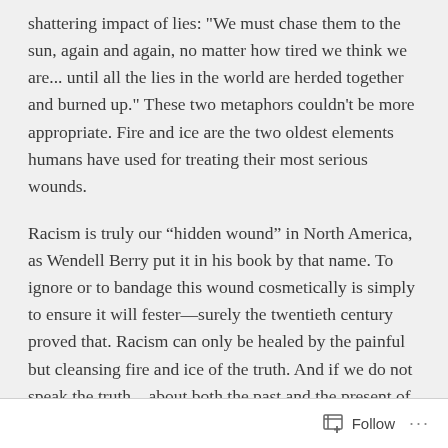shattering impact of lies: "We must chase them to the sun, again and again, no matter how tired we think we are... until all the lies in the world are herded together and burned up." These two metaphors couldn't be more appropriate. Fire and ice are the two oldest elements humans have used for treating their most serious wounds.
Racism is truly our “hidden wound” in North America, as Wendell Berry put it in his book by that name. To ignore or to bandage this wound cosmetically is simply to ensure it will fester—surely the twentieth century proved that. Racism can only be healed by the painful but cleansing fire and ice of the truth. And if we do not speak the truth—about both the past and the present of racism—then we must deal with a very different kind of fire and ice. For history shows us repeatedly that the “cold war” of frozen race relations inevitably erupts into the heat of built-up
Follow ...